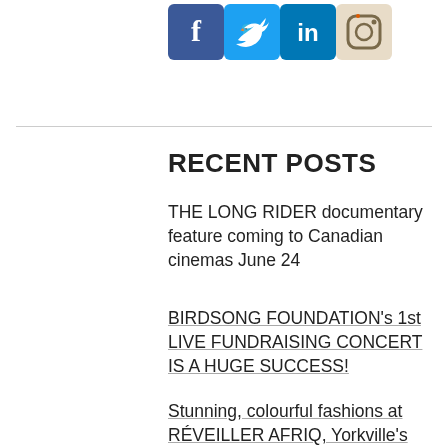[Figure (logo): Social media icons: Facebook (blue), Twitter (cyan), LinkedIn (blue), Instagram (camera)]
RECENT POSTS
THE LONG RIDER documentary feature coming to Canadian cinemas June 24
BIRDSONG FOUNDATION's 1st LIVE FUNDRAISING CONCERT IS A HUGE SUCCESS!
Stunning, colourful fashions at RÉVEILLER AFRIQ, Yorkville's newest glam boutique
BBC CELEBRATES 100 YEARS – AUTHOR DAVID HENDY WRITES ABOUT THE BEEB'S STORY & BRITAIN'S SOCIAL HISTORY